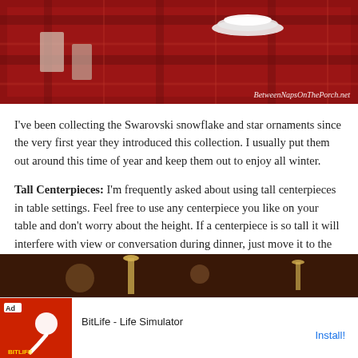[Figure (photo): Christmas table setting with red plaid tablecloth, white plates, and Swarovski ornaments, with watermark text 'BetweenNapsOnThePorch.net']
I've been collecting the Swarovski snowflake and star ornaments since the very first year they introduced this collection. I usually put them out around this time of year and keep them out to enjoy all winter.
Tall Centerpieces: I'm frequently asked about using tall centerpieces in table settings. Feel free to use any centerpiece you like on your table and don't worry about the height. If a centerpiece is so tall it will interfere with view or conversation during dinner, just move it to the sideboard or another location just before your guests sit down to eat.
[Figure (photo): Bottom portion of another table setting photo with dark background]
[Figure (screenshot): Advertisement bar: Ad badge, BitLife - Life Simulator app icon on red background, text 'BitLife - Life Simulator', Install button in blue]